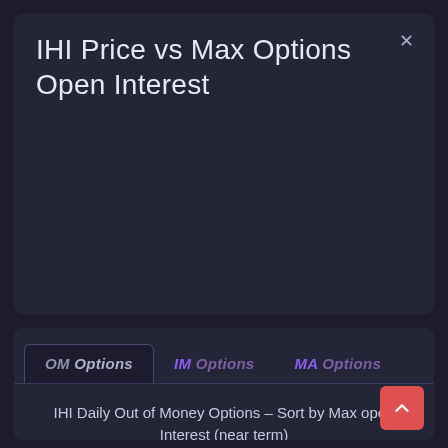IHI Price vs Max Options Open Interest
IHI Daily Out of Money Options - Sort by Max open Interest (near term)